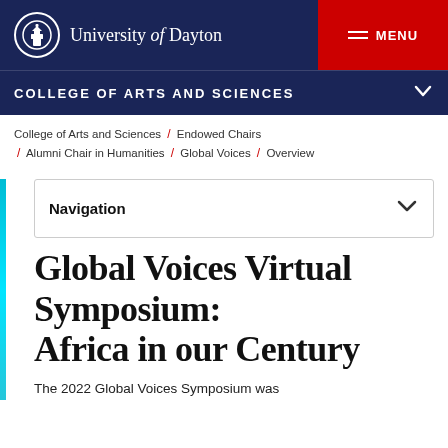University of Dayton
COLLEGE OF ARTS AND SCIENCES
College of Arts and Sciences / Endowed Chairs / Alumni Chair in Humanities / Global Voices / Overview
Navigation
Global Voices Virtual Symposium: Africa in our Century
The 2022 Global Voices Symposium was